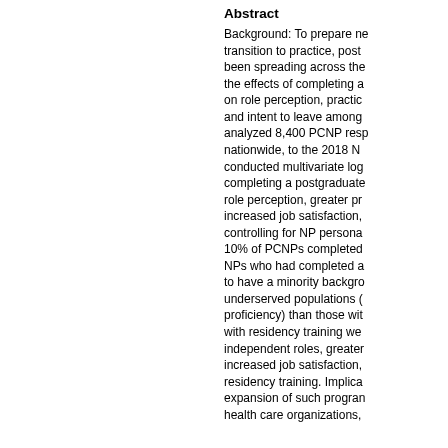Abstract
Background: To prepare newly graduated NPs for the transition to practice, postgraduate residency programs have been spreading across the country. This study examined the effects of completing a postgraduate residency program on role perception, practice autonomy, job satisfaction, and intent to leave among primary care NPs (PCNPs). We analyzed 8,400 PCNP responses, from a sample of PCNPs nationwide, to the 2018 National NP Sample Survey. We conducted multivariate logistic regression models. NPs completing a postgraduate residency program had greater role perception, greater practice autonomy, and increased job satisfaction, and decreased intent to leave, controlling for NP personal and practice characteristics. Only 10% of PCNPs completed a residency training program. NPs who had completed a residency program were more likely to have a minority background and to care for medically underserved populations (e.g., limited English language proficiency) than those without. Primary care NPs trained with residency training were more likely to work in independent roles, greater practice autonomy, and increased job satisfaction, and decreased intent to leave residency training. Implications for the support and expansion of such programs by policymakers, hospitals and health care organizations,